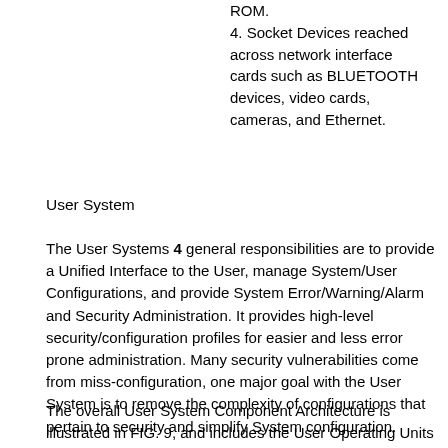4. Socket Devices reached across network interface cards such as BLUETOOTH devices, video cards, cameras, and Ethernet.
User System
The User Systems 4 general responsibilities are to provide a Unified Interface to the User, manage System/User Configurations, and provide System Error/Warning/Alarm and Security Administration. It provides high-level security/configuration profiles for easier and less error prone administration. Many security vulnerabilities come from miss-configuration, one major goal with the User System is to remove the complexity of configurations that pertain to security and simplify System configuration.
The overall User System Component Architecture is illustrated in FIG. 9, and includes the User Operating Units 4 a, the Unified User Interface 4 b, and the Security